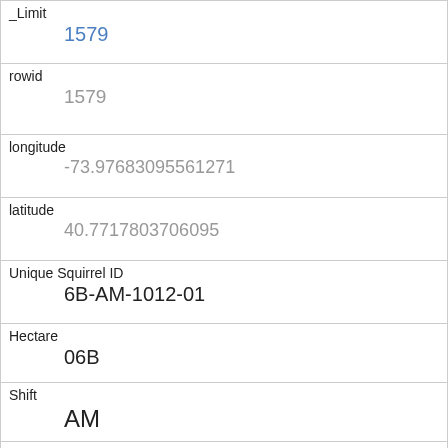| _Limit | 1579 |
| rowid | 1579 |
| longitude | -73.97683095561271 |
| latitude | 40.7717803706095 |
| Unique Squirrel ID | 6B-AM-1012-01 |
| Hectare | 06B |
| Shift | AM |
| Date | 10122018 |
| Hectare Squirrel Number | 1 |
| Age | Adult |
| Primary Fur Color |  |